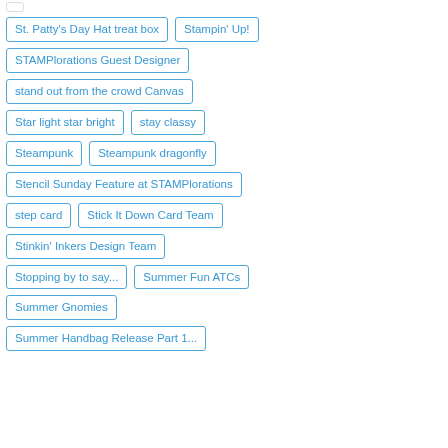St. Patty's Day Hat treat box
Stampin' Up!
STAMPlorations Guest Designer
stand out from the crowd Canvas
Star light star bright
stay classy
Steampunk
Steampunk dragonfly
Stencil Sunday Feature at STAMPlorations
step card
Stick It Down Card Team
Stinkin' Inkers Design Team
Stopping by to say...
Summer Fun ATCs
Summer Gnomies
Summer Handbag Release Part 1...